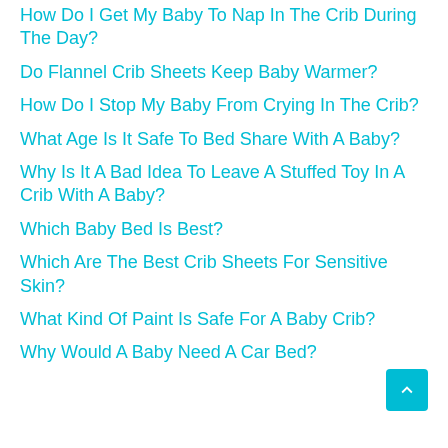How Do I Get My Baby To Nap In The Crib During The Day?
Do Flannel Crib Sheets Keep Baby Warmer?
How Do I Stop My Baby From Crying In The Crib?
What Age Is It Safe To Bed Share With A Baby?
Why Is It A Bad Idea To Leave A Stuffed Toy In A Crib With A Baby?
Which Baby Bed Is Best?
Which Are The Best Crib Sheets For Sensitive Skin?
What Kind Of Paint Is Safe For A Baby Crib?
Why Would A Baby Need A Car Bed?